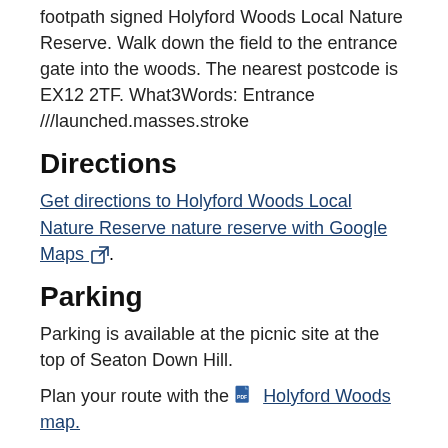footpath signed Holyford Woods Local Nature Reserve. Walk down the field to the entrance gate into the woods. The nearest postcode is EX12 2TF. What3Words: Entrance ///launched.masses.stroke
Directions
Get directions to Holyford Woods Local Nature Reserve nature reserve with Google Maps [external link].
Parking
Parking is available at the picnic site at the top of Seaton Down Hill.
Plan your route with the [PDF icon] Holyford Woods map.
Best time to visit